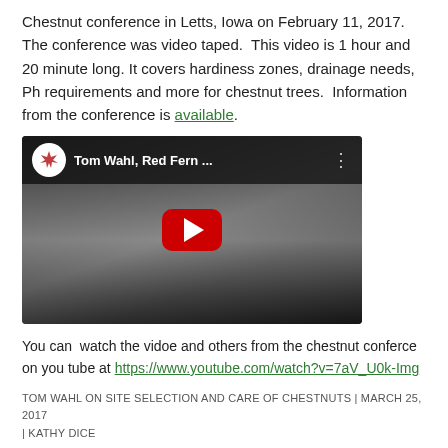Chestnut conference in Letts, Iowa on February 11, 2017. The conference was video taped.  This video is 1 hour and 20 minute long. It covers hardiness zones, drainage needs, Ph requirements and more for chestnut trees.  Information from the conference is available.
[Figure (screenshot): YouTube video thumbnail showing Tom Wahl, Red Fern ... with a play button in the center on a dark background showing a projected website screen.]
You can  watch the vidoe and others from the chestnut conferce on you tube at https://www.youtube.com/watch?v=7aV_U0k-Img
TOM WAHL ON SITE SELECTION AND CARE OF CHESTNUTS | MARCH 25, 2017 | KATHY DICE
MORE VIDEOS →